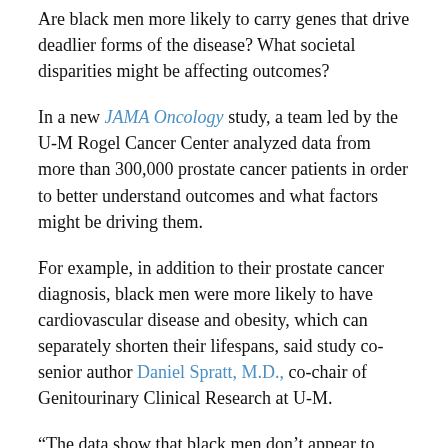Are black men more likely to carry genes that drive deadlier forms of the disease? What societal disparities might be affecting outcomes?
In a new JAMA Oncology study, a team led by the U-M Rogel Cancer Center analyzed data from more than 300,000 prostate cancer patients in order to better understand outcomes and what factors might be driving them.
For example, in addition to their prostate cancer diagnosis, black men were more likely to have cardiovascular disease and obesity, which can separately shorten their lifespans, said study co-senior author Daniel Spratt, M.D., co-chair of Genitourinary Clinical Research at U-M.
“The data show that black men don’t appear to intrinsically and biologically harbor more aggressive disease,” Spratt said. “They generally get fewer PSA screenings, are more likely to be diagnosed with later stage cancer, are less likely to have health insurance, have less access to high-quality care and